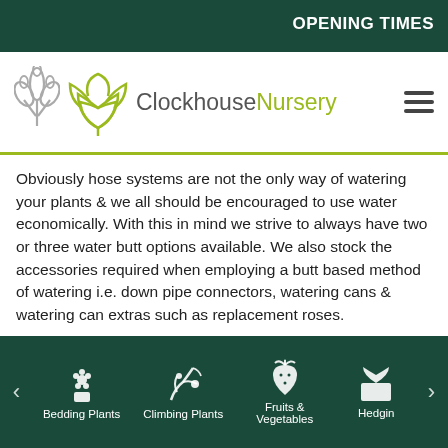OPENING TIMES
[Figure (logo): Clockhouse Nursery logo with plant/leaf icon in olive green and grey on white background]
Obviously hose systems are not the only way of watering your plants & we all should be encouraged to use water economically. With this in mind we strive to always have two or three water butt options available. We also stock the accessories required when employing a butt based method of watering i.e. down pipe connectors, watering cans & watering can extras such as replacement roses.
If you are not a fan of regular watering or it is simply too expensive for you to do so, then we urge you to pay particular attention to planting the right plant in the right
Bedding Plants | Climbing Plants | Fruits & Vegetables | Hedging